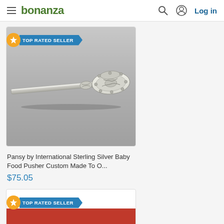bonanza — Log in
[Figure (screenshot): TOP RATED SELLER badge with star icon on a product listing card]
[Figure (photo): Close-up photo of a decorative sterling silver baby food pusher with ornate floral/scroll pattern on the handle end, photographed on a gray background]
Pansy by International Sterling Silver Baby Food Pusher Custom Made To O...
$75.05
[Figure (screenshot): Second product card with TOP RATED SELLER badge, red background image partially visible]
[Figure (photo): Partial view of a product photo with red background]